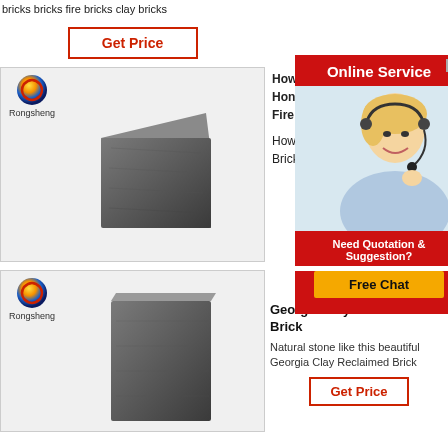bricks bricks fire bricks clay bricks
Get Price
[Figure (photo): Product card with Rongsheng logo and a dark gray square brick/block on light gray background]
[Figure (photo): Online Service chat widget with red header, close X button, blonde female customer service agent with headset, Need Quotation & Suggestion? text, and Free Chat button]
How
Hon
Fire
How
Brick
[Figure (photo): Second product card with Rongsheng logo and a dark gray rectangular brick on light gray background, partially visible]
Georgia Clay Reclaimed Brick
Natural stone like this beautiful Georgia Clay Reclaimed Brick
Get Price